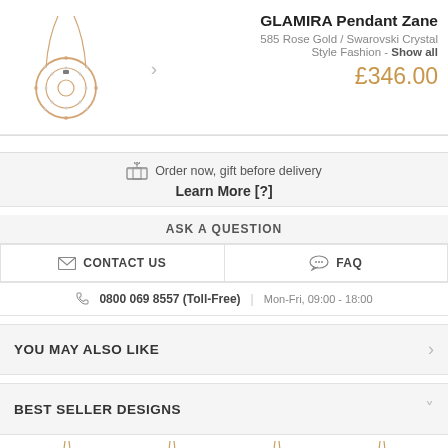[Figure (photo): GLAMIRA Pendant Zane product image — circular rose gold pendant with crystal stones on a rose gold chain, with a right-arrow navigation control beside it]
GLAMIRA Pendant Zane
585 Rose Gold / Swarovski Crystal
Style Fashion - Show all
£346.00
Order now, gift before delivery
Learn More [?]
ASK A QUESTION
✉ CONTACT US
FAQ
0800 069 8557 (Toll-Free)  |  Mon-Fri, 09:00 - 18:00
YOU MAY ALSO LIKE
BEST SELLER DESIGNS
[Figure (photo): Thumbnail images of necklace/pendant designs at the bottom of the page]